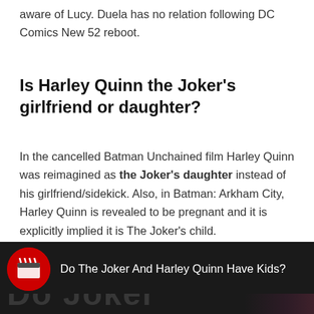aware of Lucy. Duela has no relation following DC Comics New 52 reboot.
Is Harley Quinn the Joker's girlfriend or daughter?
In the cancelled Batman Unchained film Harley Quinn was reimagined as the Joker's daughter instead of his girlfriend/sidekick. Also, in Batman: Arkham City, Harley Quinn is revealed to be pregnant and it is explicitly implied it is The Joker's child.
[Figure (screenshot): Video thumbnail with dark background showing text 'Do The Joker And Harley Quinn Have Kids?' with a red circular channel icon on the left and a partial image of Harley Quinn on the right, with large dark watermark text 'Do Joker' at the bottom.]